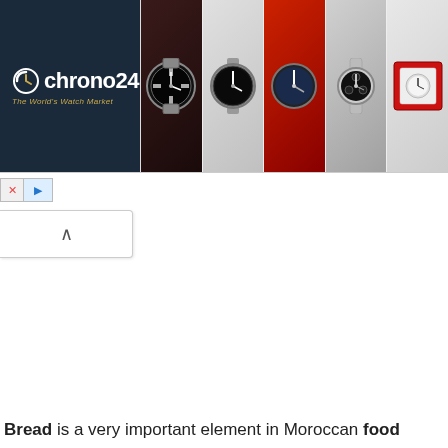[Figure (screenshot): Chrono24 advertisement banner showing the Chrono24 logo on dark blue background on the left, and 5 watch photos on the right. Two small control buttons (X and play) appear below the left panel.]
Bread is a very important element in Moroccan food